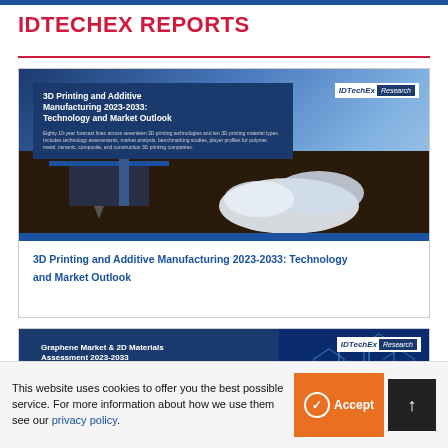IDTECHEX REPORTS
[Figure (screenshot): Report cover for '3D Printing and Additive Manufacturing 2023-2033: Technology and Market Outlook' showing a 3D printer with white printed object, IDTechEx Research logo, report title in blue box, and description text]
3D Printing and Additive Manufacturing 2023-2033: Technology and Market Outlook
[Figure (screenshot): Report cover for 'Graphene Market & 2D Materials Assessment 2023-2033' with graphene hexagonal structure background, IDTechEx Research logo, and description text]
This website uses cookies to offer you the best possible service. For more information about how we use them see our privacy policy.